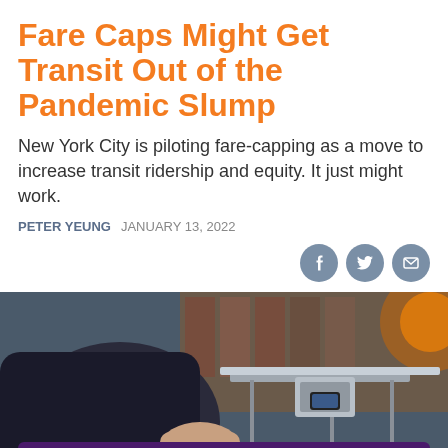Fare Caps Might Get Transit Out of the Pandemic Slump
New York City is piloting fare-capping as a move to increase transit ridership and equity. It just might work.
PETER YEUNG   JANUARY 13, 2022
[Figure (photo): Person tapping a phone on a subway turnstile to pay fare]
Get our stories delivered directly to your phone with the NEW Next City app!